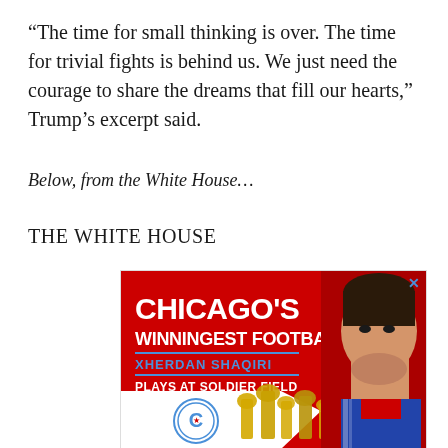“The time for small thinking is over. The time for trivial fights is behind us. We just need the courage to share the dreams that fill our hearts,” Trump’s excerpt said.
Below, from the White House…
THE WHITE HOUSE
[Figure (illustration): Advertisement for Chicago Fire FC featuring Xherdan Shaqiri. Red background with text 'CHICAGO'S WINNINGEST FOOTBALLER', 'XHERDAN SHAQIRI', 'PLAYS AT SOLDIER FIELD', Chicago Fire FC logo, and trophies.]